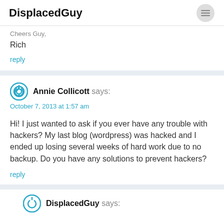DisplacedGuy
Rich
reply
Annie Collicott says:
October 7, 2013 at 1:57 am
Hi! I just wanted to ask if you ever have any trouble with hackers? My last blog (wordpress) was hacked and I ended up losing several weeks of hard work due to no backup. Do you have any solutions to prevent hackers?
reply
DisplacedGuy says: